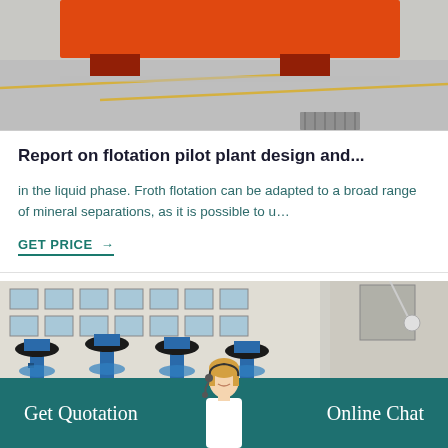[Figure (photo): Photo of industrial equipment with orange/red machine frame on concrete floor with yellow line markings and a drain grate]
Report on flotation pilot plant design and...
in the liquid phase. Froth flotation can be adapted to a broad range of mineral separations, as it is possible to u…
GET PRICE →
[Figure (photo): Photo of blue industrial flotation pumps/agitators in a factory building with large windows]
Get Quotation
Online Chat